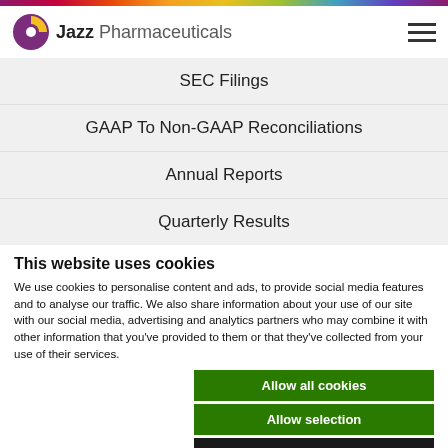[Figure (logo): Jazz Pharmaceuticals logo with purple and yellow icon]
SEC Filings
GAAP To Non-GAAP Reconciliations
Annual Reports
Quarterly Results
This website uses cookies
We use cookies to personalise content and ads, to provide social media features and to analyse our traffic. We also share information about your use of our site with our social media, advertising and analytics partners who may combine it with other information that you've provided to them or that they've collected from your use of their services.
Allow all cookies
Allow selection
Use necessary cookies only
Necessary  Preferences  Statistics  Marketing  Show details